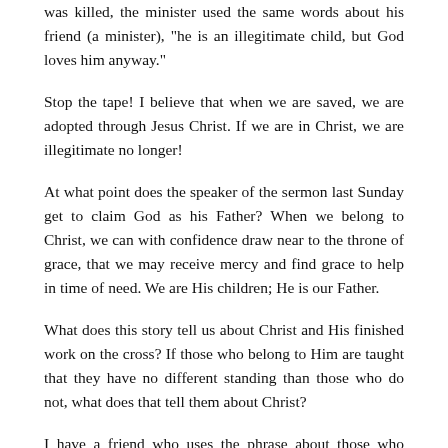was killed, the minister used the same words about his friend (a minister), "he is an illegitimate child, but God loves him anyway."
Stop the tape! I believe that when we are saved, we are adopted through Jesus Christ. If we are in Christ, we are illegitimate no longer!
At what point does the speaker of the sermon last Sunday get to claim God as his Father? When we belong to Christ, we can with confidence draw near to the throne of grace, that we may receive mercy and find grace to help in time of need. We are His children; He is our Father.
What does this story tell us about Christ and His finished work on the cross? If those who belong to Him are taught that they have no different standing than those who do not, what does that tell them about Christ?
I have a friend who uses the phrase about those who believe